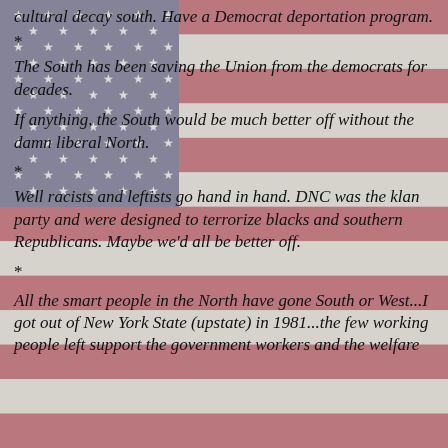[Figure (illustration): Faded American flag background covering the full page]
cultural decay south. Have a Democrat deportation program.
*
The South has been saving the Union from the democrats for decades.
If anything, the South would be much better off without the damn liberal North.
*
Well racists and leftists go hand in hand. DNC was the klan party and were designed to terrorize blacks and southern Republicans. Maybe we'd all be better off.
*
All the smart people in the North have gone South or West...I got out of New York State (upstate) in 1981...the few working people left support the government workers and the welfare